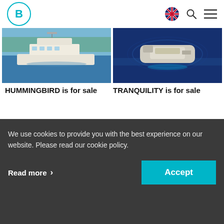[Figure (logo): Burgess yachts logo - letter B in a teal circle]
[Figure (photo): White motor yacht HUMMINGBIRD on blue water with trees in background]
[Figure (photo): Aerial view of large dark blue yacht TRANQUILITY at a dock]
HUMMINGBIRD is for sale
TRANQUILITY is for sale
We use cookies to provide you with the best experience on our website. Please read our cookie policy.
Read more >
Accept